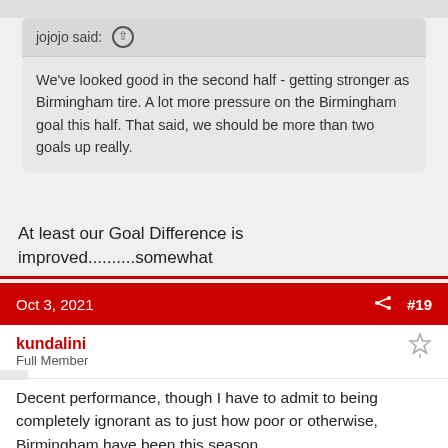jojojo said: ↑
We've looked good in the second half - getting stronger as Birmingham tire. A lot more pressure on the Birmingham goal this half. That said, we should be more than two goals up really.
At least our Goal Difference is improved..........somewhat
Oct 3, 2021  #19
kundalini
Full Member
Decent performance, though I have to admit to being completely ignorant as to just how poor or otherwise, Birmingham have been this season.